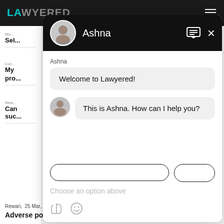[Figure (screenshot): Screenshot of Lawyered website with a chat widget popup. The chat widget shows an avatar and name 'Ashna' in a black header, with two chat bubbles: 'Welcome to Lawyered!' and 'This is Ashna. How can I help you?', followed by option buttons and a 'Choose an option above' input placeholder. Background shows partial website content with text fragments including 'Sel', 'My', 'pro', 'New', 'Can', 'suc', and footer text 'Rewari, 25 Mar, 2021, (1 year, 5 months ago)' and 'Adverse possesion'.]